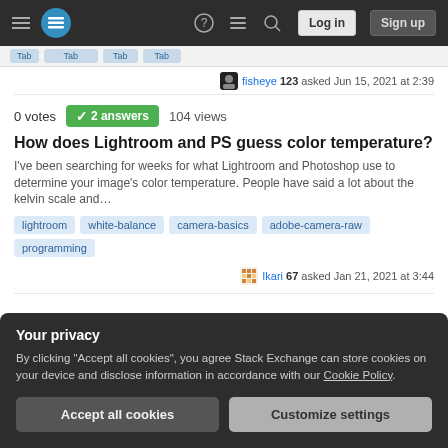Stack Exchange navigation bar with hamburger menu, logo, help, chat, search icons, Log in and Sign up buttons
fisheye 123 asked Jun 15, 2021 at 2:39
0 votes  2 answers  104 views
How does Lightroom and PS guess color temperature?
I've been searching for weeks for what Lightroom and Photoshop use to determine your image's color temperature. People have said a lot about the kelvin scale and…
lightroom
white-balance
camera-basics
adobe-camera-raw
programming
Ikari 67 asked Jan 21, 2021 at 3:44
Your privacy
By clicking "Accept all cookies", you agree Stack Exchange can store cookies on your device and disclose information in accordance with our Cookie Policy.
Accept all cookies  Customize settings